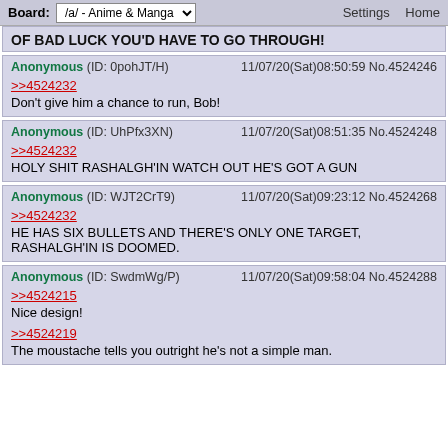Board: /a/ - Anime & Manga  Settings  Home
OF BAD LUCK YOU'D HAVE TO GO THROUGH!
Anonymous (ID: 0pohJT/H) 11/07/20(Sat)08:50:59 No.4524246
>>4524232
Don't give him a chance to run, Bob!
Anonymous (ID: UhPfx3XN) 11/07/20(Sat)08:51:35 No.4524248
>>4524232
HOLY SHIT RASHALGH'IN WATCH OUT HE'S GOT A GUN
Anonymous (ID: WJT2CrT9) 11/07/20(Sat)09:23:12 No.4524268
>>4524232
HE HAS SIX BULLETS AND THERE'S ONLY ONE TARGET, RASHALGH'IN IS DOOMED.
Anonymous (ID: SwdmWg/P) 11/07/20(Sat)09:58:04 No.4524288
>>4524215
Nice design!
>>4524219
The moustache tells you outright he's not a simple man.